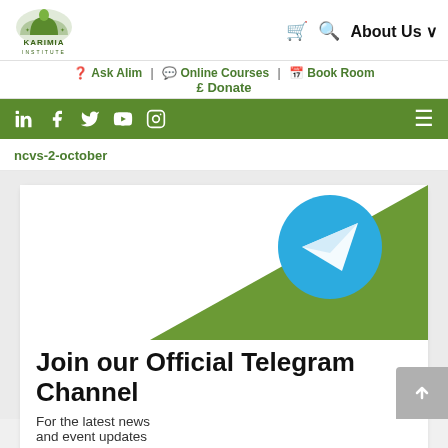Karimia Institute — Ask Alim | Online Courses | Book Room | £ Donate
Social media links: LinkedIn, Facebook, Twitter, YouTube, Instagram | Menu
ncvs-2-october
[Figure (illustration): Telegram channel promotional image with green triangle background and Telegram logo (blue circle with white paper plane), text: Join our Official Telegram Channel — For the latest news and event updates]
Join our Official Telegram Channel
For the latest news and event updates